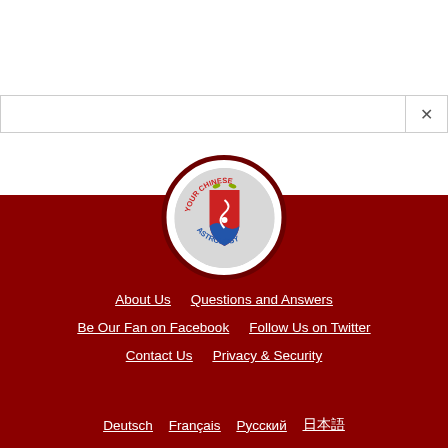[Figure (logo): Your Chinese Astrology circular logo with red shield/yin-yang emblem in center, text arced around the circle]
About Us
Questions and Answers
Be Our Fan on Facebook
Follow Us on Twitter
Contact Us
Privacy & Security
Deutsch
Français
Русский
日本語